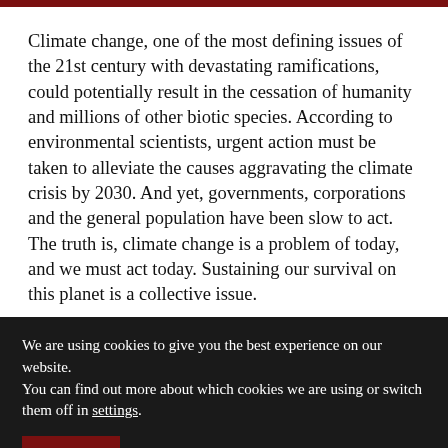Climate change, one of the most defining issues of the 21st century with devastating ramifications, could potentially result in the cessation of humanity and millions of other biotic species. According to environmental scientists, urgent action must be taken to alleviate the causes aggravating the climate crisis by 2030. And yet, governments, corporations and the general population have been slow to act. The truth is, climate change is a problem of today, and we must act today. Sustaining our survival on this planet is a collective issue.
We are using cookies to give you the best experience on our website.
You can find out more about which cookies we are using or switch them off in settings.